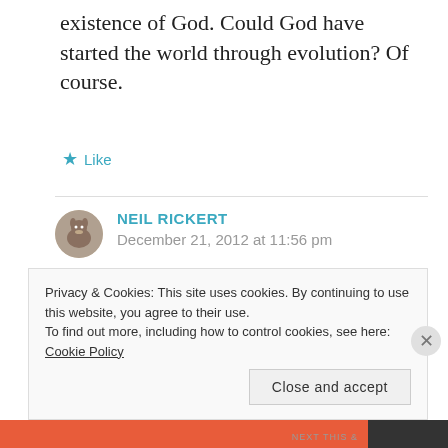existence of God. Could God have started the world through evolution? Of course.
★ Like
NEIL RICKERT
December 21, 2012 at 11:56 pm
unklee:
Privacy & Cookies: This site uses cookies. By continuing to use this website, you agree to their use.
To find out more, including how to control cookies, see here: Cookie Policy
Close and accept